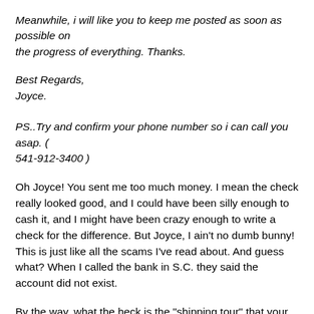Meanwhile, i will like you to keep me posted as soon as possible on the progress of everything. Thanks.
Best Regards,
Joyce.
PS..Try and confirm your phone number so i can call you asap. (
541-912-3400 )
Oh Joyce! You sent me too much money. I mean the check really looked good, and I could have been silly enough to cash it, and I might have been crazy enough to write a check for the difference. But Joyce, I ain't no dumb bunny! This is just like all the scams I've read about. And guess what? When I called the bank in S.C. they said the account did not exist.
By the way, what the heck is the "shipping tour" that your